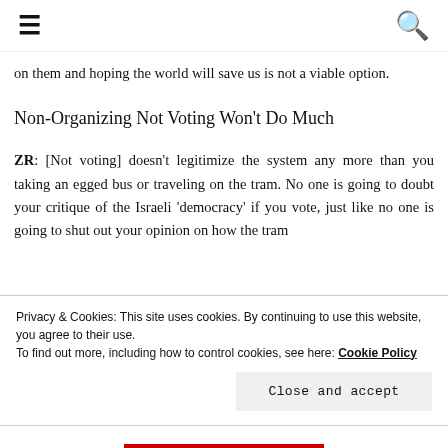≡  🔍
on them and hoping the world will save us is not a viable option.
Non-Organizing Not Voting Won't Do Much
ZR: [Not voting] doesn't legitimize the system any more than you taking an egged bus or traveling on the tram. No one is going to doubt your critique of the Israeli 'democracy' if you vote, just like no one is going to shut out your opinion on how the tram
Privacy & Cookies: This site uses cookies. By continuing to use this website, you agree to their use.
To find out more, including how to control cookies, see here: Cookie Policy
Close and accept